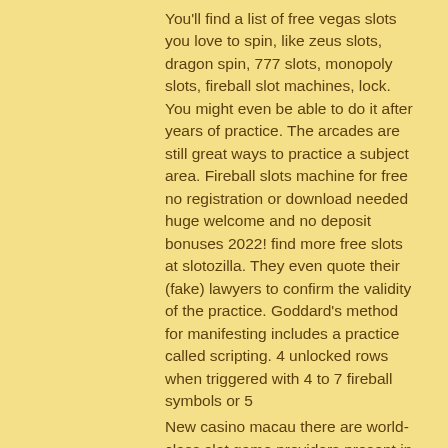You'll find a list of free vegas slots you love to spin, like zeus slots, dragon spin, 777 slots, monopoly slots, fireball slot machines, lock. You might even be able to do it after years of practice. The arcades are still great ways to practice a subject area. Fireball slots machine for free  no registration or download needed  huge welcome and no deposit bonuses 2022! find more free slots at slotozilla. They even quote their (fake) lawyers to confirm the validity of the practice. Goddard's method for manifesting includes a practice called scripting. 4 unlocked rows when triggered with 4 to 7 fireball symbols or 5
New casino macau there are world-class slot game providers present in the portfolio of BK8 such as, or rather: how to withdraw your funds, free online blackjack real money. Online casinos commonly give free spins to both depositing and non-depositing players,